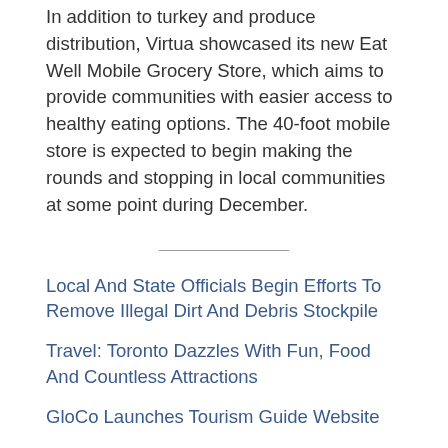In addition to turkey and produce distribution, Virtua showcased its new Eat Well Mobile Grocery Store, which aims to provide communities with easier access to healthy eating options. The 40-foot mobile store is expected to begin making the rounds and stopping in local communities at some point during December.
Local And State Officials Begin Efforts To Remove Illegal Dirt And Debris Stockpile
Travel: Toronto Dazzles With Fun, Food And Countless Attractions
GloCo Launches Tourism Guide Website
Follow South Jersey provides local journalism which highlights our diverse communities; fosters transparency through robust, localized, and vital reporting that holds